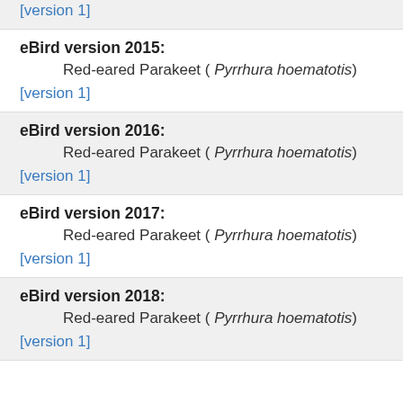[version 1]
eBird version 2015:
        Red-eared Parakeet ( Pyrrhura hoematotis)
[version 1]
eBird version 2016:
        Red-eared Parakeet ( Pyrrhura hoematotis)
[version 1]
eBird version 2017:
        Red-eared Parakeet ( Pyrrhura hoematotis)
[version 1]
eBird version 2018:
        Red-eared Parakeet ( Pyrrhura hoematotis)
[version 1]